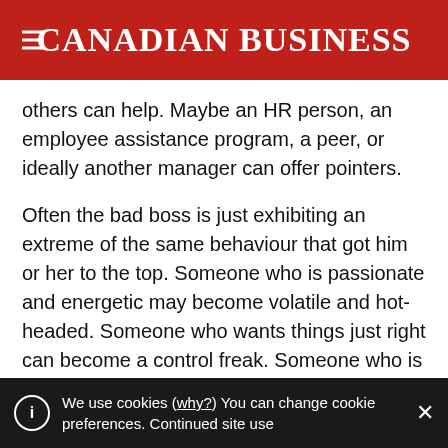CANADIAN BUSINESS
others can help. Maybe an HR person, an employee assistance program, a peer, or ideally another manager can offer pointers.
Often the bad boss is just exhibiting an extreme of the same behaviour that got him or her to the top. Someone who is passionate and energetic may become volatile and hot-headed. Someone who wants things just right can become a control freak. Someone who is well liked may not want to hurt others by making a tough decision–and can end up making no
We use cookies (why?) You can change cookie preferences. Continued site use